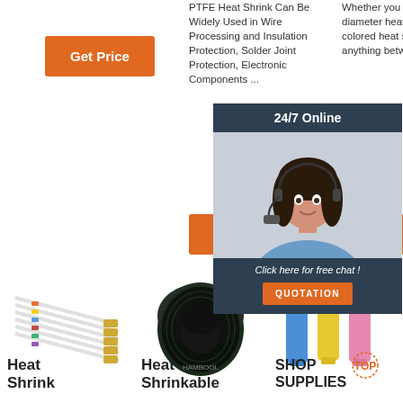Get Price
PTFE Heat Shrink Can Be Widely Used in Wire Processing and Insulation Protection, Solder Joint Protection, Electronic Components ...
Whether you need large diameter heat shrink tubing, colored heat shrink wrap, or anything between, huge ...
Get Price
Get
[Figure (screenshot): 24/7 Online chat overlay with woman wearing headset, dark background, 'Click here for free chat!' text and orange QUOTATION button]
[Figure (photo): Heat shrink wires with colored bands]
[Figure (photo): Heat shrinkable black wrap rolls]
[Figure (photo): Colored heat shrink butt connectors - blue, yellow, pink]
Heat Shrink
Heat Shrinkable
SHOP SUPPLIES